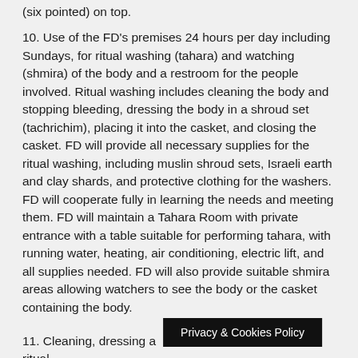(six pointed) on top.
10. Use of the FD's premises 24 hours per day including Sundays, for ritual washing (tahara) and watching (shmira) of the body and a restroom for the people involved. Ritual washing includes cleaning the body and stopping bleeding, dressing the body in a shroud set (tachrichim), placing it into the casket, and closing the casket. FD will provide all necessary supplies for the ritual washing, including muslin shroud sets, Israeli earth and clay shards, and protective clothing for the washers. FD will cooperate fully in learning the needs and meeting them. FD will maintain a Tahara Room with private entrance with a table suitable for performing tahara, with running water, heating, air conditioning, electric lift, and all supplies needed. FD will also provide suitable shmira areas allowing watchers to see the body or the casket containing the body.
11. Cleaning, dressing a... when ritual